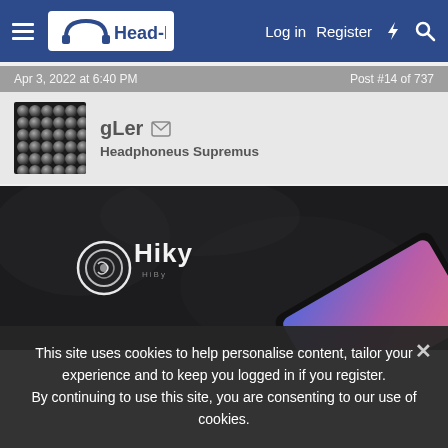Head-Fi — Log in | Register
Apr 3, 2022 at 6:40 PM    Post #14 of 737
gLer ✉
Headphoneus Supremus
[Figure (photo): Dark textured background with HiBy logo on the left and a corner of a device showing blue-pink gradient screen on the lower right]
This site uses cookies to help personalise content, tailor your experience and to keep you logged in if you register. By continuing to use this site, you are consenting to our use of cookies.